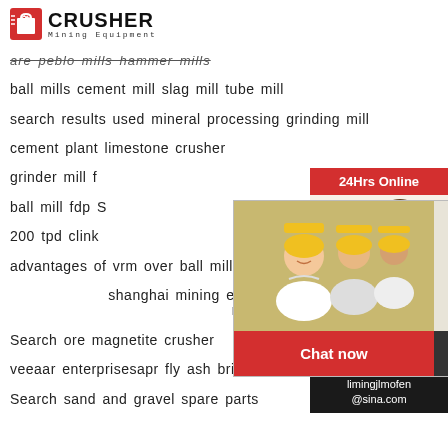[Figure (logo): Crusher Mining Equipment logo with red shopping bag icon]
are peblo mills hammer mills
ball mills cement mill slag mill tube mill
search results used mineral processing grinding mill
cement plant limestone crusher
grinder mill f
ball mill fdp S
200 tpd clink
advantages of vrm over ball mill search result
shanghai mining electric power equipment s machine
Search ore magnetite crusher
veeaar enterprisesapr fly ash bricks delhi
Search sand and gravel spare parts
[Figure (photo): Live Chat popup with construction workers in yellow hard hats, LIVE CHAT text, Click for a Free Consultation, Chat now and Chat later buttons]
[Figure (photo): Right sidebar with customer service agent wearing headset, 24Hrs Online, Need questions & suggestion? Chat Now, Enquiry, limingjlmofen@sina.com]